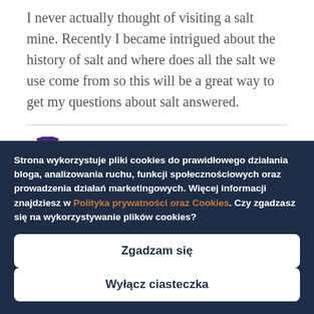I never actually thought of visiting a salt mine. Recently I became intrigued about the history of salt and where does all the salt we use come from so this will be a great way to get my questions about salt answered.
[Figure (illustration): Two cartoon emoji-style smiley face icons partially visible at bottom left of white content area]
Strona wykorzystuje pliki cookies do prawidłowego działania bloga, analizowania ruchu, funkcji społecznościowych oraz prowadzenia działań marketingowych. Więcej informacji znajdziesz w Polityka prywatności oraz Cookies. Czy zgadzasz się na wykorzystywanie plików cookies?
Zgadzam się
Wyłącz ciasteczka